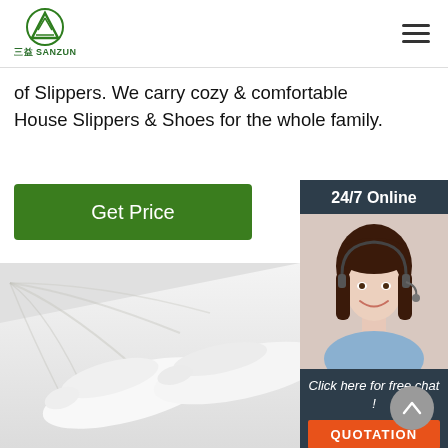SANZUN logo and navigation
of Slippers. We carry cozy & comfortable House Slippers & Shoes for the whole family.
Get Price
[Figure (infographic): 24/7 Online chat widget with customer service agent photo, 'Click here for free chat!' text, and orange QUOTATION button]
[Figure (photo): White hotel slippers on white surface near a blue swimming pool]
Click here for free chat !
QUOTATION